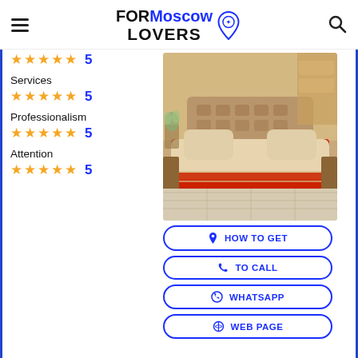FOR Moscow LOVERS
Services ★★★★★ 5
Professionalism ★★★★★ 5
Attention ★★★★★ 5
[Figure (photo): Bedroom interior with red and cream bedding on a large bed, warm wooden furniture and shelving in background]
HOW TO GET
TO CALL
WHATSAPP
WEB PAGE